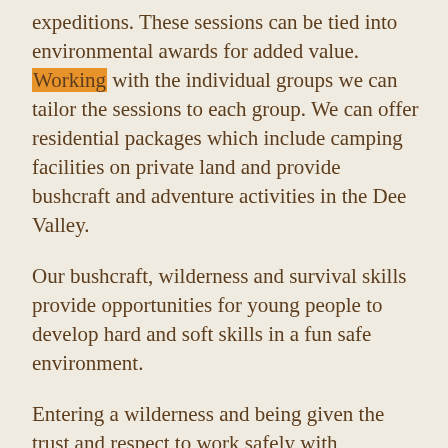expeditions. These sessions can be tied into environmental awards for added value. Working with the individual groups we can tailor the sessions to each group. We can offer residential packages which include camping facilities on private land and provide bushcraft and adventure activities in the Dee Valley.
Our bushcraft, wilderness and survival skills provide opportunities for young people to develop hard and soft skills in a fun safe environment.
Entering a wilderness and being given the trust and respect to work safely with bushcraft tools can make a profound impact on these young people as they are able to achieve successes in a short time frame and gain confidence from their new skills.